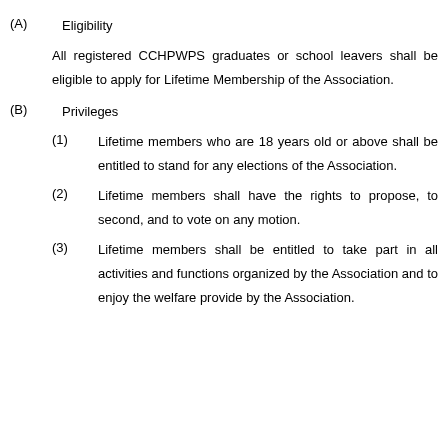(A)   Eligibility
All registered CCHPWPS graduates or school leavers shall be eligible to apply for Lifetime Membership of the Association.
(B)   Privileges
(1)   Lifetime members who are 18 years old or above shall be entitled to stand for any elections of the Association.
(2)   Lifetime members shall have the rights to propose, to second, and to vote on any motion.
(3)   Lifetime members shall be entitled to take part in all activities and functions organized by the Association and to enjoy the welfare provide by the Association.